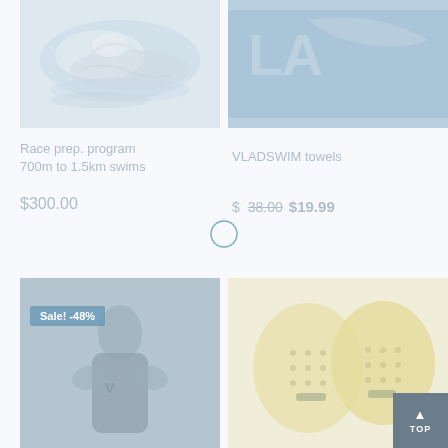[Figure (photo): Swimmer in water, race preparation photo, light faded appearance]
[Figure (photo): VLADSWIM branded blue towel product photo, faded blue]
Race prep. program 700m to 1.5km swims
$300.00
VLADSWIM towels
$ 38.00  $19.99
[Figure (photo): Female swimmer in dark wetsuit/swimsuit, Sale! -48% badge overlay]
[Figure (photo): Yellow swimming hand paddles product photo]